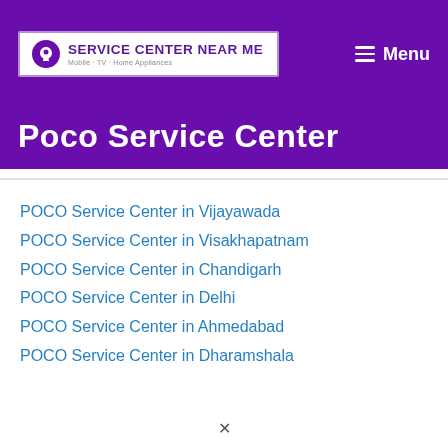SERVICE CENTER NEAR ME — Mobile · TV · Home Appliances
Poco Service Center
POCO Service Center in Vijayawada
POCO Service Center in Visakhapatnam
POCO Service Center in Chandigarh
POCO Service Center in Delhi
POCO Service Center in Ahmedabad
POCO Service Center in Dharamshala